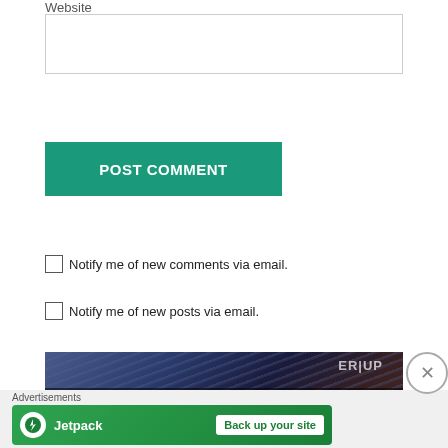Website
[Figure (screenshot): Empty website input text field]
[Figure (screenshot): POST COMMENT button in teal/green color]
Notify me of new comments via email.
Notify me of new posts via email.
[Figure (photo): Previous post navigation block showing 'PREVIOUS RIXREVIEWS: MAKEUP WORLD PH' over a dark denim/makeup background image]
Advertisements
[Figure (screenshot): Jetpack advertisement banner: Jetpack logo with lightning bolt and 'Back up your site' button on green background]